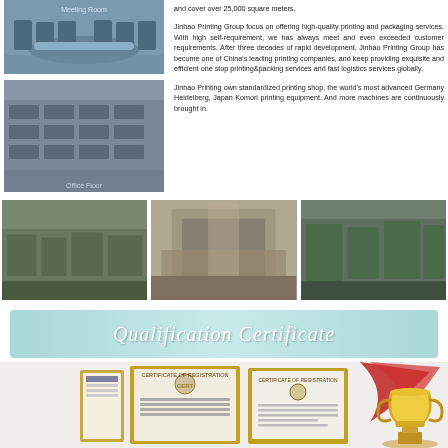[Figure (photo): Conference/meeting room with oval table and chairs]
[Figure (photo): Office floor with many workers at computer workstations]
and cover over 25,000 square meters.
Jinhao Printing Group focus on offering high-quality printing and packaging services. With high self-requirement, we has always meet and even exceeded customer requirements. After three decades of rapid development, Jinhao Printing Group has become one of China's leading printing companies, and keep providing exquisite and efficient one stop printing&packing services and fast logistics services globally.
Jinhao Printing own standardized printing shop, the world's most advanced Germany Heidelberg, Japan Komori printing equipment. And more machines are continuously brought in.
[Figure (photo): Printing facility with stacked printed materials on pallets]
[Figure (photo): Large industrial printing press machine]
[Figure (photo): Factory floor with green printing/finishing machines]
Qualification Certificate
[Figure (photo): Qualification certificates and trophy/award cup displayed together]